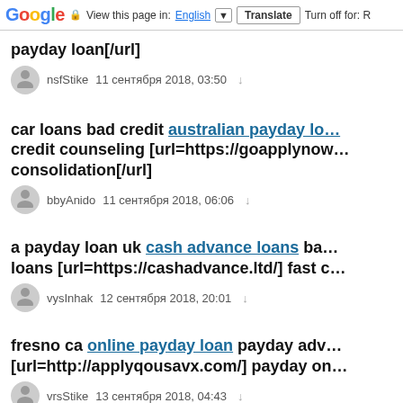Google  View this page in: English ▼  Translate  Turn off for: R
payday loan[/url]
nsfStike  11 сентября 2018, 03:50
car loans bad credit australian payday lo... credit counseling [url=https://goapplynow... consolidation[/url]
bbyAnido  11 сентября 2018, 06:06
a payday loan uk cash advance loans ba... loans [url=https://cashadvance.ltd/] fast c...
vysInhak  12 сентября 2018, 20:01
fresno ca online payday loan payday adv... [url=http://applyqousavx.com/] payday on...
vrsStike  13 сентября 2018, 04:43